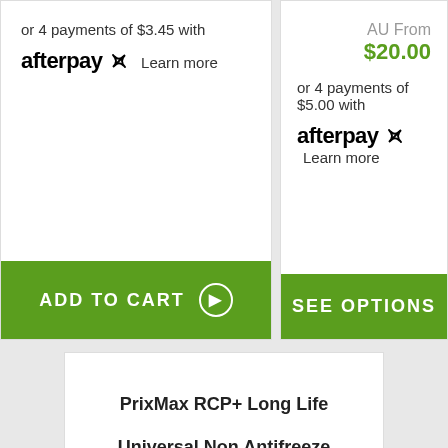or 4 payments of $3.45 with
afterpay Learn more
ADD TO CART
AU From $20.00
or 4 payments of $5.00 with
afterpay Learn more
SEE OPTIONS
PrixMax RCP+ Long Life
Universal Non Antifreeze
Hybrid OAT Coolant
Concentrate